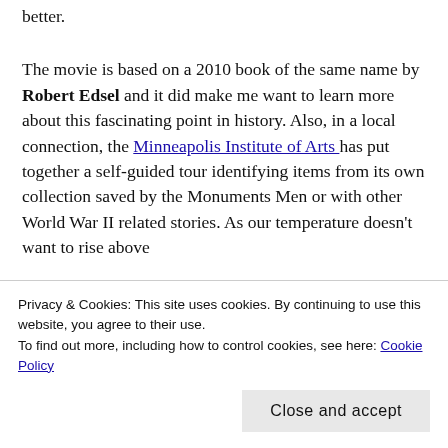better.
The movie is based on a 2010 book of the same name by Robert Edsel and it did make me want to learn more about this fascinating point in history. Also, in a local connection, the Minneapolis Institute of Arts has put together a self-guided tour identifying items from its own collection saved by the Monuments Men or with other World War II related stories. As our temperature doesn't want to rise above
Privacy & Cookies: This site uses cookies. By continuing to use this website, you agree to their use.
To find out more, including how to control cookies, see here: Cookie Policy